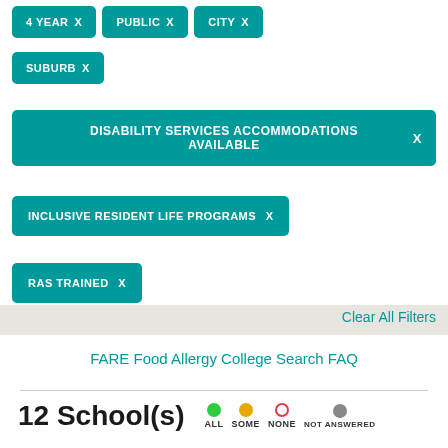4 YEAR X
PUBLIC X
CITY X
SUBURB X
DISABILITY SERVICES ACCOMMODATIONS AVAILABLE X
INCLUSIVE RESIDENT LIFE PROGRAMS X
RAS TRAINED X
Clear All Filters
FARE Food Allergy College Search FAQ
12 School(s)
ALL SOME NONE NOT ANSWERED